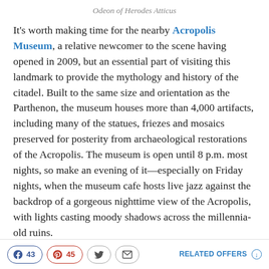Odeon of Herodes Atticus
It's worth making time for the nearby Acropolis Museum, a relative newcomer to the scene having opened in 2009, but an essential part of visiting this landmark to provide the mythology and history of the citadel. Built to the same size and orientation as the Parthenon, the museum houses more than 4,000 artifacts, including many of the statues, friezes and mosaics preserved for posterity from archaeological restorations of the Acropolis. The museum is open until 8 p.m. most nights, so make an evening of it—especially on Friday nights, when the museum cafe hosts live jazz against the backdrop of a gorgeous nighttime view of the Acropolis, with lights casting moody shadows across the millennia-old ruins.
43 [Facebook] 45 [Pinterest] [Twitter] [Mail] RELATED OFFERS